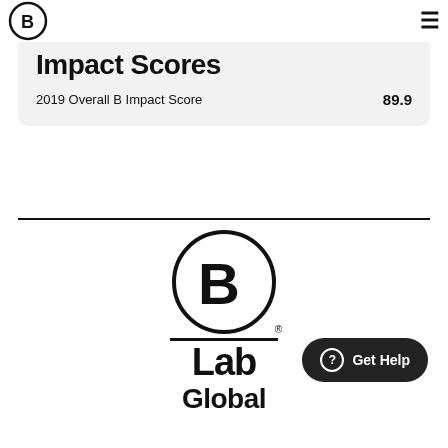B Lab logo and navigation menu
Impact Scores
2019 Overall B Impact Score   89.9
[Figure (logo): B Lab Global logo — large circle with letter B, horizontal rule, text Lab Global with registered trademark symbol]
[Figure (other): Get Help button — dark rounded rectangle with question mark icon and text 'Get Help']